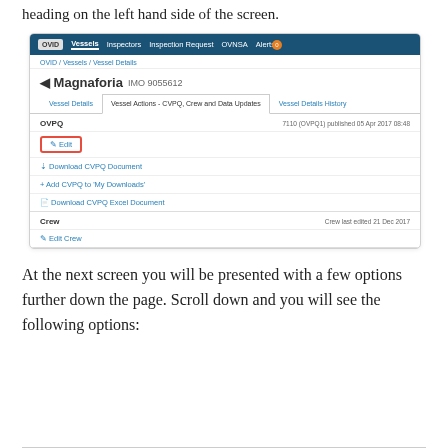heading on the left hand side of the screen.
[Figure (screenshot): Screenshot of OVID vessel management system showing the Magnaforia IMO 9055612 vessel detail page with tabs for Vessel Details, Vessel Actions - CVPQ, Crew and Data Updates, and Vessel Details History. The CVPQ section shows an Edit button highlighted with a red border, and options to Download CVPQ Document, Add CVPQ to My Downloads, and Download CVPQ Excel Document. The Crew section shows Edit Crew option.]
At the next screen you will be presented with a few options further down the page. Scroll down and you will see the following options: